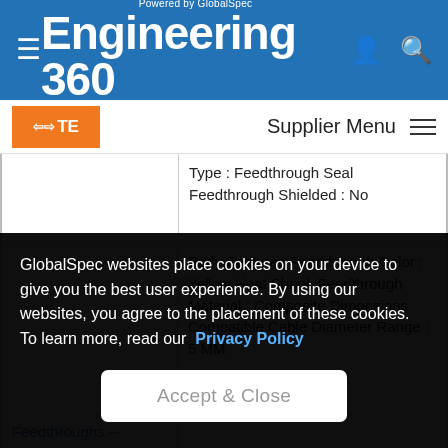Powered by GlobalSpec Engineering 360
[Figure (logo): TE Connectivity logo - orange background with white TE arrows text]
Supplier Menu
|  | Specifications |
| --- | --- |
|  | Type : Feedthrough Seal Feedthrough Shielded : No |
| Feedthroughs -- | Body Features Feedthrough Color : Yellow Heat Shrink Feedthrough Material : Composite Dimensions Compatible Cable Diameter Range : 5 MM |
GlobalSpec websites place cookies on your device to give you the best user experience. By using our websites, you agree to the placement of these cookies. To learn more, read our Privacy Policy
Accept & Close